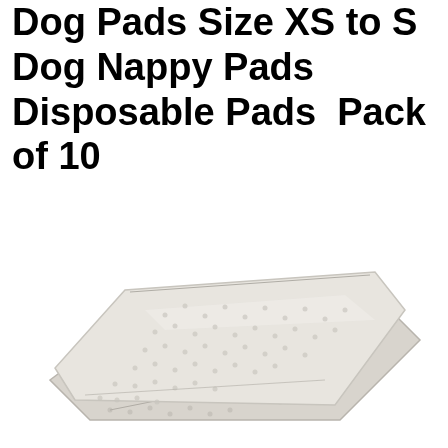Dog Pads Size XS to S Dog Nappy Pads Disposable Pads Pack of 10
[Figure (photo): Two stacked white mesh/fabric dog nappy pads photographed on a white background, showing textured surface detail.]